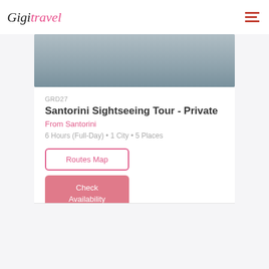Gigi Travel
[Figure (photo): Partial view of a travel destination, light blue/grey tones, appears to be an architectural or scenic shot from Santorini]
GRD27
Santorini Sightseeing Tour - Private
From Santorini
6 Hours (Full-Day) • 1 City • 5 Places
Routes Map
Check Availability